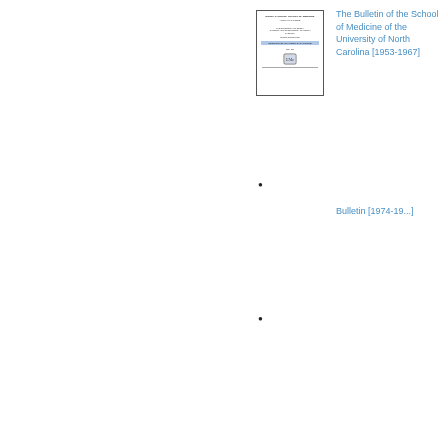[Figure (illustration): Thumbnail image of a document cover page for 'The Bulletin of the School of Medicine of the University of North Carolina [1953-1967]', shown as a small bordered document preview]
The Bulletin of the School of Medicine of the University of North Carolina [1953-1967]
•
Bulletin [1974-19...]
•